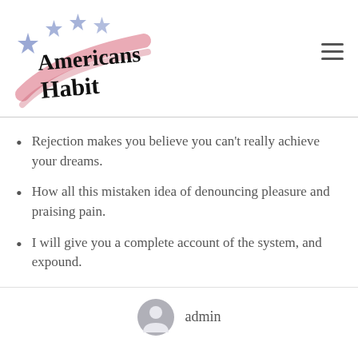[Figure (logo): Americans Habit logo with stars and red swoosh]
Rejection makes you believe you can't really achieve your dreams.
How all this mistaken idea of denouncing pleasure and praising pain.
I will give you a complete account of the system, and expound.
admin